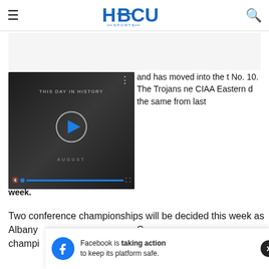HBCU Sports
[Figure (screenshot): Video player showing 'THIS DAY IN HISTORY' with play button, mute icon, progress bar, AUGUST label, and fullscreen icon on dark background]
and has moved into the t No. 10. The Trojans ne CIAA Eastern d the same from last week.
Two conference championships will be decided this week as Albany champi while
[Figure (screenshot): Facebook banner ad: 'Facebook is taking action to keep its platform safe.' with Facebook logo and X close button]